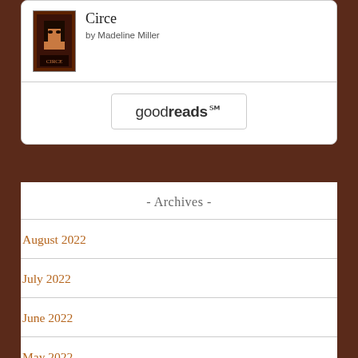[Figure (illustration): Book widget card showing the book 'Circe' by Madeline Miller with a Goodreads button]
Circe
by Madeline Miller
[Figure (logo): Goodreads logo button]
- Archives -
August 2022
July 2022
June 2022
May 2022
April 2022